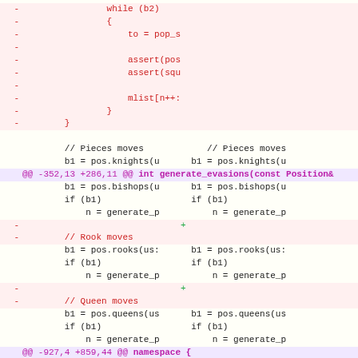[Figure (screenshot): Git diff output showing code changes in a chess engine source file, with removed lines in red, added lines in green, context lines in black, and hunk headers in magenta. The diff shows changes to move generation functions including bishop, rook, and queen moves inside generate_evasions.]